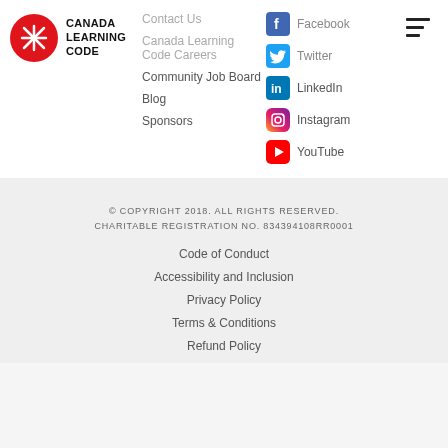[Figure (logo): Canada Learning Code logo - red circle with white X pattern, bold text CANADA LEARNING CODE]
Contact Us
Canada Learning Code Careers
Community Job Board
Blog
Sponsors
Facebook
Twitter
LinkedIn
Instagram
YouTube
© COPYRIGHT 2018. ALL RIGHTS RESERVED.
CHARITABLE REGISTRATION NO. 834394108RR0001
Code of Conduct
Accessibility and Inclusion
Privacy Policy
Terms & Conditions
Refund Policy